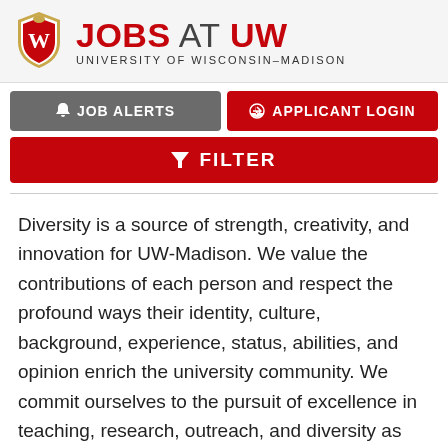[Figure (logo): University of Wisconsin-Madison crest shield logo with W emblem, red and gold colors]
JOBS AT UW – UNIVERSITY OF WISCONSIN–MADISON
[Figure (screenshot): Gray JOB ALERTS button with bell icon]
[Figure (screenshot): Red APPLICANT LOGIN button with arrow icon]
[Figure (screenshot): Red FILTER button with funnel icon]
Diversity is a source of strength, creativity, and innovation for UW-Madison. We value the contributions of each person and respect the profound ways their identity, culture, background, experience, status, abilities, and opinion enrich the university community. We commit ourselves to the pursuit of excellence in teaching, research, outreach, and diversity as inextricably linked goals.
The University of Wisconsin-Madison fulfills its public